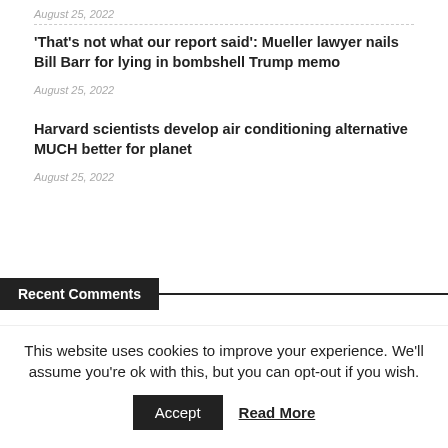August 25, 2022
'That's not what our report said': Mueller lawyer nails Bill Barr for lying in bombshell Trump memo
August 25, 2022
Harvard scientists develop air conditioning alternative MUCH better for planet
August 25, 2022
Recent Comments
This website uses cookies to improve your experience. We'll assume you're ok with this, but you can opt-out if you wish.
Accept   Read More